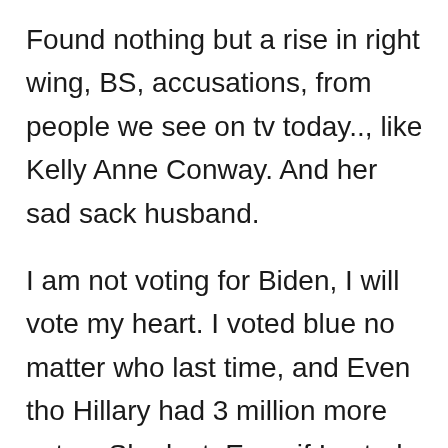Found nothing but a rise in right wing, BS, accusations, from people we see on tv today.., like Kelly Anne Conway. And her sad sack husband.
I am not voting for Biden, I will vote my heart. I voted blue no matter who last time, and Even tho Hillary had 3 million more votes. She lost. Even if I voted for Biden, he is gonna have more votes, but still lose.
So if at least I vote my heart, people will know the actual numbers of who didn't fall in line with the voters. Like